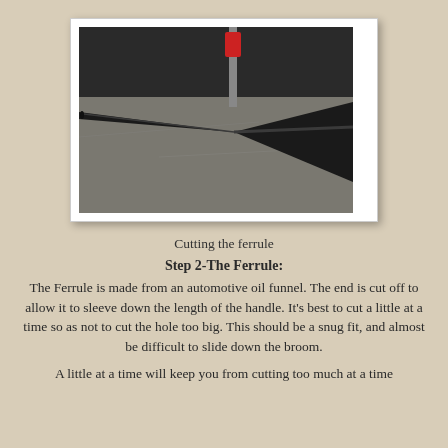[Figure (photo): A photo of a black automotive oil funnel (ferrule) laid on a metal workbench surface, with a band saw visible in the background. The funnel tapers from wide at the right to a narrow tube at the left.]
Cutting the ferrule
Step 2-The Ferrule:
The Ferrule is made from an automotive oil funnel.  The end is cut off to allow it to sleeve down the length of the handle.  It's best to cut a little at a time so as not to cut the hole too big.  This should be a snug fit, and almost be difficult to slide down the broom.
A little at a time will keep you from cutting too much at a time